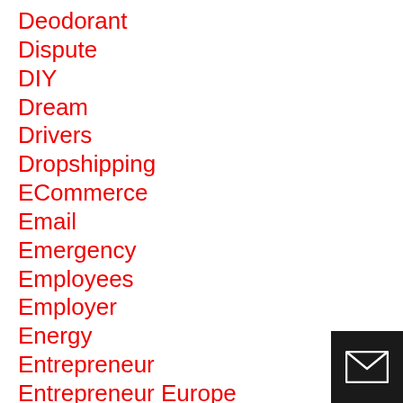Deodorant
Dispute
DIY
Dream
Drivers
Dropshipping
ECommerce
Email
Emergency
Employees
Employer
Energy
Entrepreneur
Entrepreneur Europe
Entrepreneurial
Environment
Equipment
[Figure (illustration): Email envelope icon in white on black background, bottom-right corner]